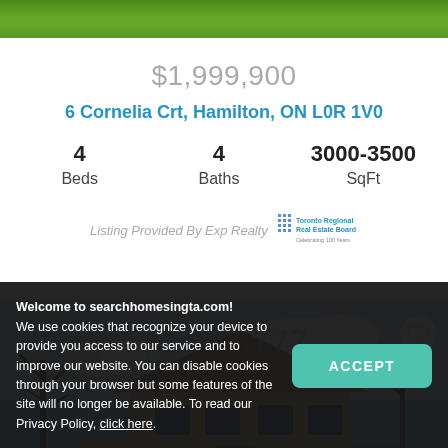[Figure (photo): Grass/lawn strip at very top of page]
$1,999,900
6 Cornelia Crt, Hamilton, ON L0R 1V0
4 Beds   4 Baths   3000-3500 SqFt
Listing Provided By Exp Realty
[Figure (photo): Exterior photo of a two-storey brick house with trees, blue sky, green lawn]
Welcome to searchhomesingta.com!
We use cookies that recognize your device to provide you access to our service and to improve our website. You can disable cookies through your browser but some features of the site will no longer be available. To read our Privacy Policy, click here.
$1,999,777